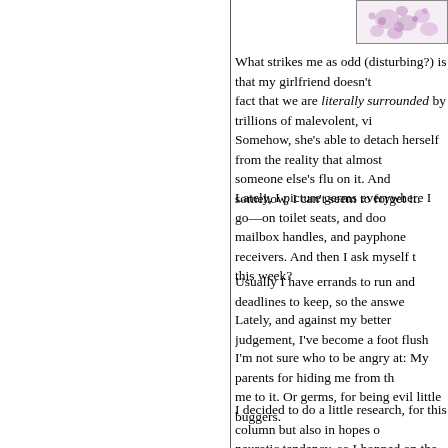[Figure (photo): A microscope image showing purple/pink stained cells or microorganisms on a white background, framed with a border.]
What strikes me as odd (disturbing?) is that my girlfriend doesn't fact that we are literally surrounded by trillions of malevolent, vi Somehow, she's able to detach herself from the reality that almost someone else's flu on it. And somehow, I can't seem to forget it.
Lately, I picture germs everywhere I go—on toilet seats, and doo mailbox handles, and payphone receivers. And then I ask myself t this week?
Usually I have errands to run and deadlines to keep, so the answe
Lately, and against my better judgement, I've become a foot flush
I'm not sure who to be angry at: My parents for hiding me from th me to it. Or germs, for being evil little buggers.
I decided to do a little research, for this column but also in hopes neurotic tendency, so I hopped on the web and googled "germs."
The news is not good.
One of the first sites to pop up was for Purell Instant Hand Sanitiz can't get to soap and water." The website explains that Purell kills cause illness (what about the other 0.01%?), and goes on to encou anytime-anyplace! In the kitchen or bathroom for extra care, at we changing diapers or handling money, before drive-thru meals or w